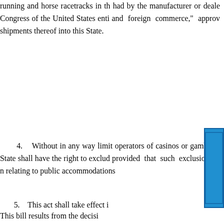running and horse racetracks in the State, had by the manufacturer or dealer. The Congress of the United States entitled "An act to regulate commerce with foreign nations and among the several states and with the Indian tribes, in relation to the use of narcotic drugs and to regulate the introduction thereof into importing States through other States, and foreign commerce," approved January 17, 1914, shall not affect the right of this State to prohibit such sales or shipments thereof into this State.
4.    Without in any way limiting the foregoing, operators of casinos or gambling establishments within this State shall have the right to exclude any person therefrom, provided that such exclusion or restriction does not violate the laws relating to public accommodations.
5.    This act shall take effect immediately.
[Figure (other): Feedback button on right side of page, blue rectangle with white 'feedback' text rotated vertically]
This bill results from the decision of the National Collegiate Athletic Asso